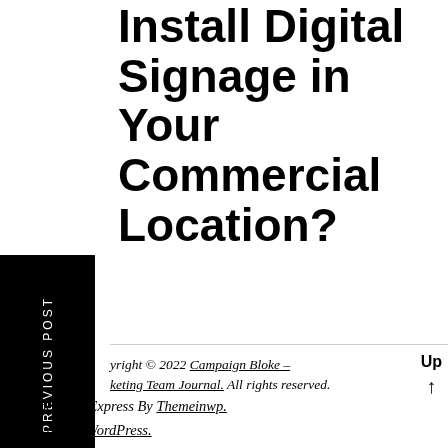Install Digital Signage in Your Commercial Location?
PREVIOUS POST
Copyright © 2022 Campaign Bloke – Marketing Team Journal. All rights reserved.
Up ↑
Theme: BlogExpress By Themeinwp. Powered by WordPress.